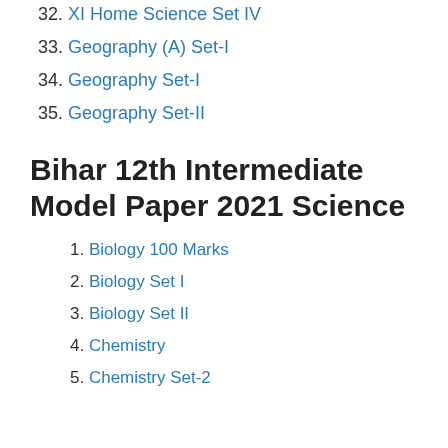32. XI Home Science Set IV
33. Geography (A) Set-I
34. Geography Set-I
35. Geography Set-II
Bihar 12th Intermediate Model Paper 2021 Science
1. Biology 100 Marks
2. Biology Set I
3. Biology Set II
4. Chemistry
5. Chemistry Set-2